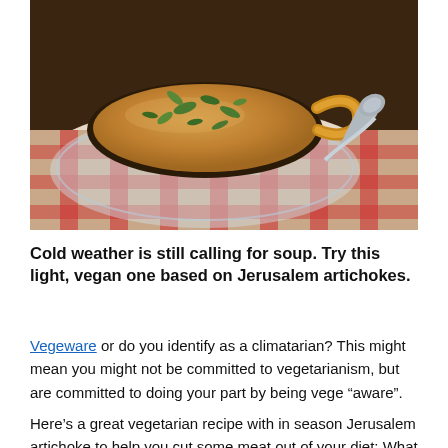[Figure (photo): A bowl of creamy golden soup garnished with fresh green herbs (cilantro/parsley), sitting on a red and white checkered cloth with a silver spoon beside it.]
Cold weather is still calling for soup. Try this light, vegan one based on Jerusalem artichokes.
Vegeware or do you identify as a climatarian? This might mean you might not be committed to vegetarianism, but are committed to doing your part by being vege “aware”.
Here’s a great vegetarian recipe with in season Jerusalem artichoke to help you cut some meat out of your diet: What